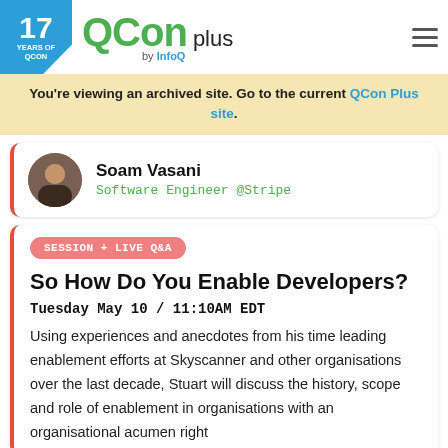17 YEARS OF QCON — QCon plus by InfoQ
You're viewing an archived site. Go to the current QCon Plus site.
Soam Vasani
Software Engineer @Stripe
SESSION + LIVE Q&A
So How Do You Enable Developers?
Tuesday May 10 / 11:10AM EDT
Using experiences and anecdotes from his time leading enablement efforts at Skyscanner and other organisations over the last decade, Stuart will discuss the history, scope and role of enablement in organisations with an organisational acumen right